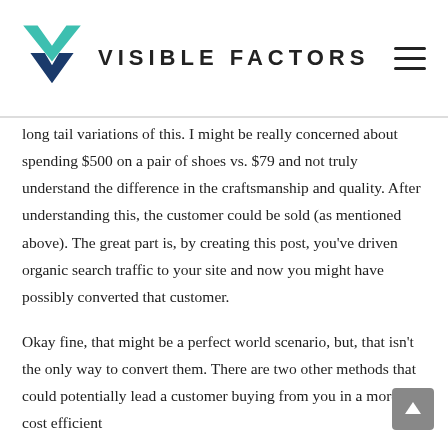VISIBLE FACTORS
long tail variations of this. I might be really concerned about spending $500 on a pair of shoes vs. $79 and not truly understand the difference in the craftsmanship and quality. After understanding this, the customer could be sold (as mentioned above). The great part is, by creating this post, you've driven organic search traffic to your site and now you might have possibly converted that customer.
Okay fine, that might be a perfect world scenario, but, that isn't the only way to convert them. There are two other methods that could potentially lead a customer buying from you in a more cost efficient